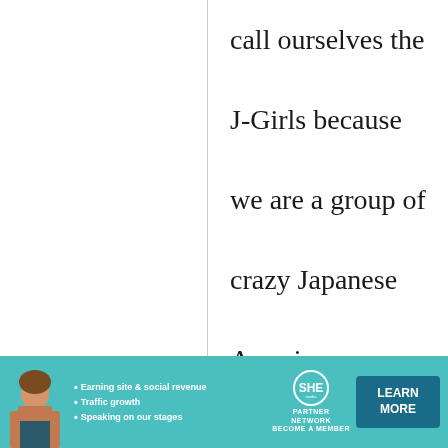call ourselves the J-Girls because we are a group of crazy Japanese American women who have been researching, digging up grandmas recipes and cooking together Japanese dishes...traditional
[Figure (infographic): Advertisement banner for SHE Partner Network. Teal/turquoise background with a woman photo on the left, bullet points reading 'Earning site & social revenue', 'Traffic growth', 'Speaking on our stages', SHE Partner Network logo in center, and a dark teal 'LEARN MORE' button on the right. A close (X) button appears at top right of the ad.]